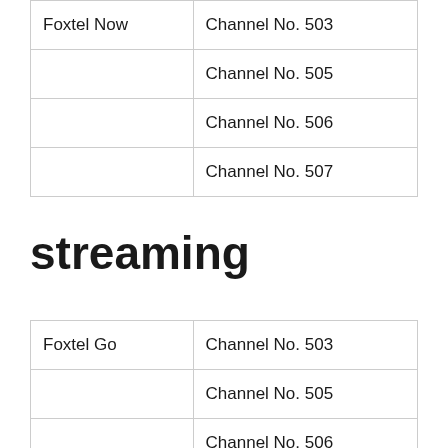| Foxtel Now | Channel No. 503 |
|  | Channel No. 505 |
|  | Channel No. 506 |
|  | Channel No. 507 |
streaming
| Foxtel Go | Channel No. 503 |
|  | Channel No. 505 |
|  | Channel No. 506 |
|  | Channel No. 507 |
|  |  |